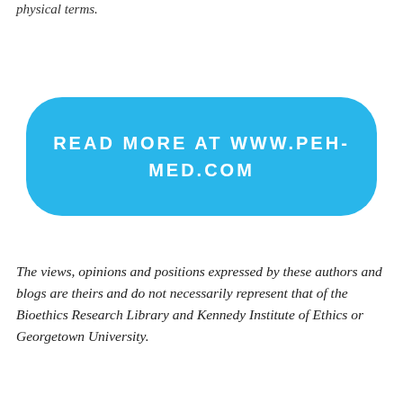physical terms.
[Figure (other): A cyan/blue rounded rectangle button with text 'READ MORE AT WWW.PEH-MED.COM' in white uppercase letters]
The views, opinions and positions expressed by these authors and blogs are theirs and do not necessarily represent that of the Bioethics Research Library and Kennedy Institute of Ethics or Georgetown University.